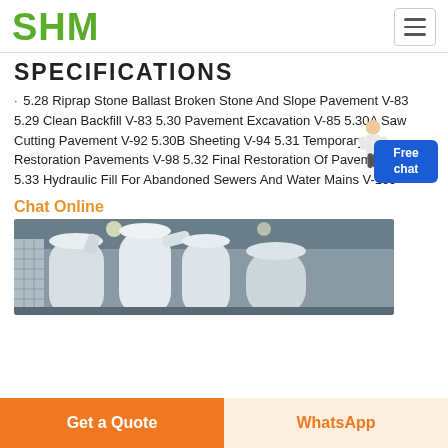SHM
SPECIFICATIONS
5.28 Riprap Stone Ballast Broken Stone And Slope Pavement V-83 5.29 Clean Backfill V-83 5.30 Pavement Excavation V-85 5.30A Saw Cutting Pavement V-92 5.30B Sheeting V-94 5.31 Temporary Restoration Pavements V-98 5.32 Final Restoration Of Pavements V-99 5.33 Hydraulic Fill For Abandoned Sewers And Water Mains V-109
Chat Online
[Figure (photo): Industrial milling or grinding equipment — white cylindrical machines and pipes inside a warehouse/factory]
Get a Quote | WhatsApp